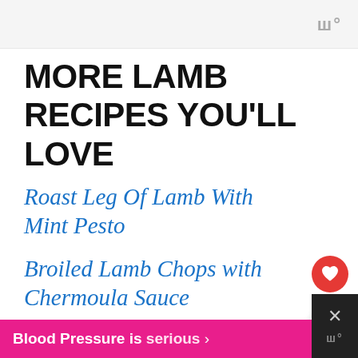ш°
MORE LAMB RECIPES YOU'LL LOVE
Roast Leg Of Lamb With Mint Pesto
Broiled Lamb Chops with Chermoula Sauce
Absolutely Delicious Classic Shepherd's Pie
[Figure (infographic): Red heart favorite button and share button (grey circle with share icon), plus 'What's Next' popup showing a food image thumbnail with text 'Gluten Free Lamb...']
Blood Pressure is serious